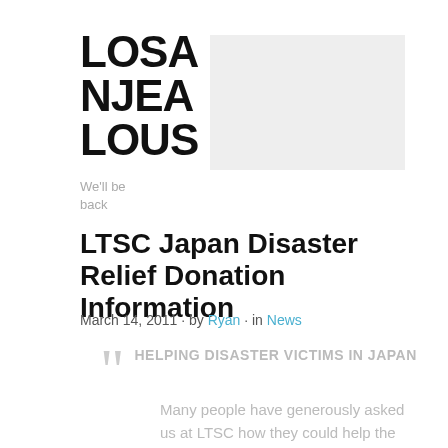LOSANJEALOUS
[Figure (other): Gray placeholder rectangle for website header image]
We'll be back
LTSC Japan Disaster Relief Donation Information
March 14, 2011 · by Ryan · in News
HELPING DISASTER VICTIMS IN JAPAN
Many people have generously asked us at LTSC how they could help the victims of the earthquake and tsunami in Japan. The following is...